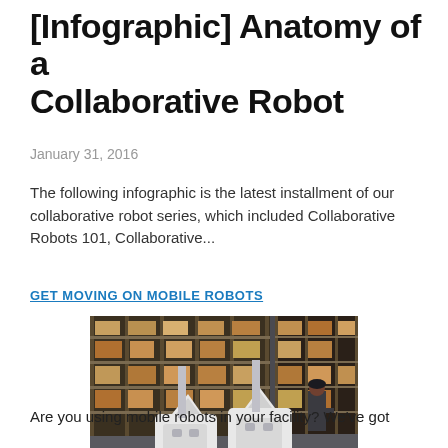[Infographic] Anatomy of a Collaborative Robot
January 31, 2016
The following infographic is the latest installment of our collaborative robot series, which included Collaborative Robots 101, Collaborative...
GET MOVING ON MOBILE ROBOTS
[Figure (photo): Two white autonomous mobile robots (AMRs) in a warehouse aisle with shelving units stocked with boxes; a worker is visible in the background.]
Are you using mobile robots in your facility? We've got